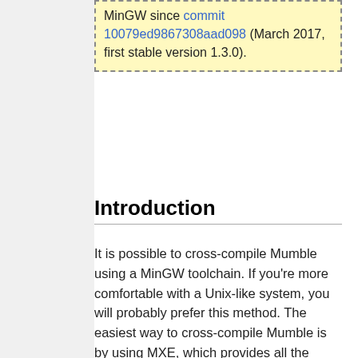[Figure (other): Yellow notice box (partially visible at top) with dashed border containing text about MinGW since commit 10079ed9867308aad098... (March 2017, first stable version 1.3.0).]
Introduction
It is possible to cross-compile Mumble using a MinGW toolchain. If you're more comfortable with a Unix-like system, you will probably prefer this method. The easiest way to cross-compile Mumble is by using MXE, which provides all the required dependencies.
Features currently not available with MinGW: